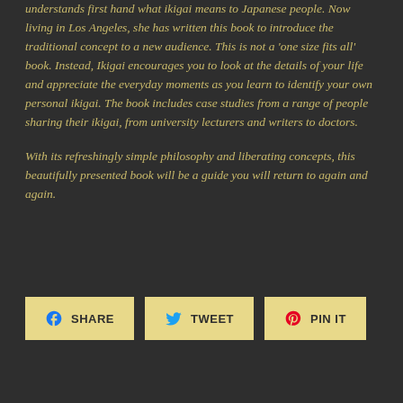understands first hand what ikigai means to Japanese people. Now living in Los Angeles, she has written this book to introduce the traditional concept to a new audience. This is not a 'one size fits all' book. Instead, Ikigai encourages you to look at the details of your life and appreciate the everyday moments as you learn to identify your own personal ikigai. The book includes case studies from a range of people sharing their ikigai, from university lecturers and writers to doctors.
With its refreshingly simple philosophy and liberating concepts, this beautifully presented book will be a guide you will return to again and again.
[Figure (other): Three social sharing buttons: SHARE (Facebook), TWEET (Twitter), PIN IT (Pinterest)]